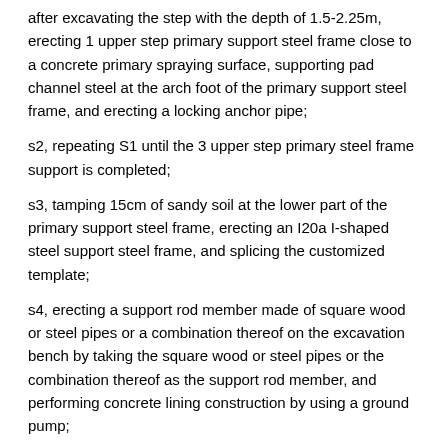after excavating the step with the depth of 1.5-2.25m, erecting 1 upper step primary support steel frame close to a concrete primary spraying surface, supporting pad channel steel at the arch foot of the primary support steel frame, and erecting a locking anchor pipe;
s2, repeating S1 until the 3 upper step primary steel frame support is completed;
s3, tamping 15cm of sandy soil at the lower part of the primary support steel frame, erecting an I20a I-shaped steel support steel frame, and splicing the customized template;
s4, erecting a support rod member made of square wood or steel pipes or a combination thereof on the excavation bench by taking the square wood or steel pipes or the combination thereof as the support rod member, and performing concrete lining construction by using a ground pump;
s5, removing sand at the bottom of the upper step steel frame, performing lower step excavation by adopting a left side wall pilot tunnel staggered edge-changing excavation